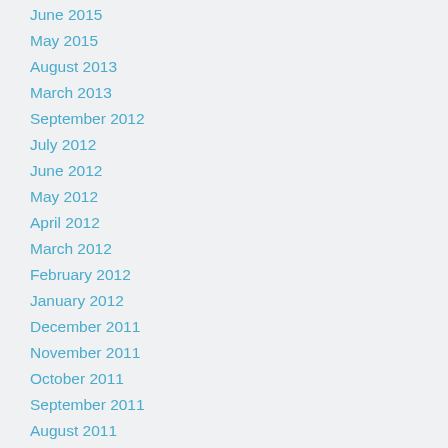June 2015
May 2015
August 2013
March 2013
September 2012
July 2012
June 2012
May 2012
April 2012
March 2012
February 2012
January 2012
December 2011
November 2011
October 2011
September 2011
August 2011
July 2011
May 2011
April 2011
March 2011
January 2011
December 2010
November 2010